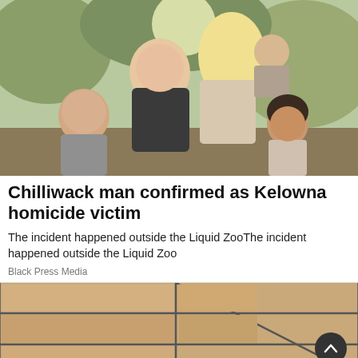[Figure (photo): Family portrait photo showing a man, woman with long blonde hair, and three children, smiling outdoors with trees in background]
Chilliwack man confirmed as Kelowna homicide victim
The incident happened outside the Liquid ZooThe incident happened outside the Liquid Zoo
Black Press Media
[Figure (photo): Close-up photo of tan/beige ceramic floor tiles with dark grout lines meeting at a corner]